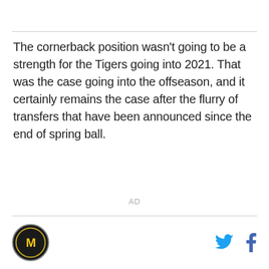The cornerback position wasn't going to be a strength for the Tigers going into 2021. That was the case going into the offseason, and it certainly remains the case after the flurry of transfers that have been announced since the end of spring ball.
AD
Logo | Twitter | Facebook